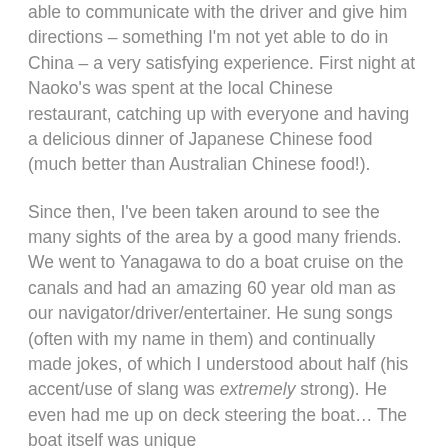able to communicate with the driver and give him directions – something I'm not yet able to do in China – a very satisfying experience. First night at Naoko's was spent at the local Chinese restaurant, catching up with everyone and having a delicious dinner of Japanese Chinese food (much better than Australian Chinese food!).
Since then, I've been taken around to see the many sights of the area by a good many friends. We went to Yanagawa to do a boat cruise on the canals and had an amazing 60 year old man as our navigator/driver/entertainer. He sung songs (often with my name in them) and continually made jokes, of which I understood about half (his accent/use of slang was extremely strong). He even had me up on deck steering the boat… The boat itself was unique